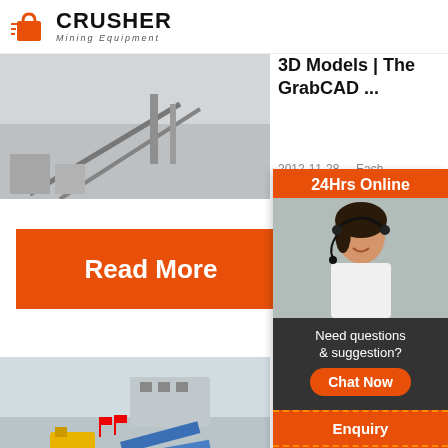[Figure (logo): Crusher Mining Equipment logo with red shopping bag icon and bold black text]
[Figure (photo): Aerial view of mining/crusher industrial site with conveyors and machinery]
3D Models | The GrabCAD ...
2012-11-28 ... Each
Read More
[Figure (photo): Outdoor mining/crushing plant with yellow crusher machinery, blue conveyors, and white stone piles]
Jaw Crusher 3D CAD Library... GrabC...
2018-8-1 ...
[Figure (infographic): 24Hrs Online customer service sidebar with woman wearing headset, chat now button, enquiry section, and email address limingjlmofen@sina.com]